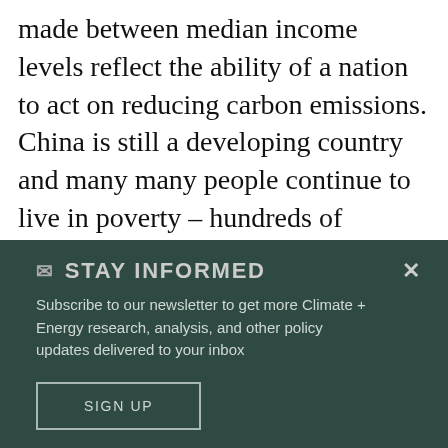made between median income levels reflect the ability of a nation to act on reducing carbon emissions. China is still a developing country and many many people continue to live in poverty – hundreds of millions in fact. This is where the difference between the US vs India/China lies. And while many in the States still live in poverty, the US has had the economic capacity for many years to act on this but has failed to do so. This is not the fault of China.The more in the game, the
✉ STAY INFORMED
Subscribe to our newsletter to get more Climate + Energy research, analysis, and other policy updates delivered to your inbox
SIGN UP